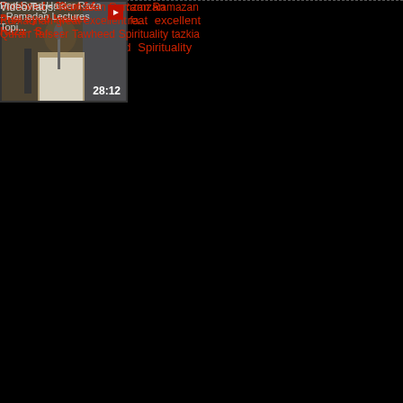[Figure (screenshot): Video thumbnail showing a person at a microphone, duration 49:15]
Video Tags: Ramadan Ramzan Ramazan Ramadhan great excellent fa... Quran Tafseer Tawheed Spirituality tazkia
[Figure (screenshot): Video thumbnail for Tawheed 6b of 14 by Prof Syed Haider Raza, duration 28:12]
Tawheed - 6b of 14 - Prof Syed Haider Raza - S...
Prof Syed Haider Raza - Ramadan Lectures Topi...
Video Tags: Ramadan Ramzan Ramazan Ramadhan great excellent fa... Quran Tafseer Tawheed Spirituality tazkia
[Figure (screenshot): Video thumbnail for Tawheed 7a of 14 by Prof Syed Haider Raza]
Tawheed - 7a of 14 - Prof Syed Haider Raza - S...
Prof Syed Haider Raza - Ramadan Lectures Topi...